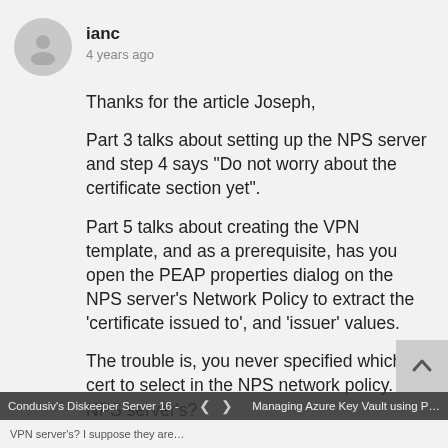ianc
4 years ago
Thanks for the article Joseph,
Part 3 talks about setting up the NPS server and step 4 says “Do not worry about the certificate section yet”.
Part 5 talks about creating the VPN template, and as a prerequisite, has you open the PEAP properties dialog on the NPS server’s Network Policy to extract the ‘certificate issued to’, and ‘issuer’ values.
The trouble is, you never specified which cert to select in the NPS network policy. The NPS server’s?
Condusiv’s Diskeeper Server 16 - …  ❮  ❯  Managing Azure Key Vault using P…